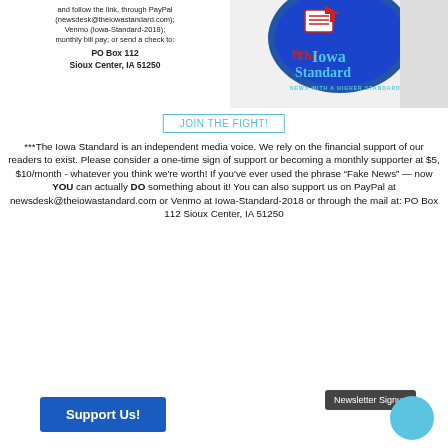[Figure (logo): The Iowa Standard newspaper logo with text about PayPal (newsdesk@theiowastandard.com), Venmo (Iowa-Standard-2018), monthly bill pay, PO Box 112, Sioux Center IA 51250, and the Iowa Standard logo with 'News with a higher standard in mind']
JOIN THE FIGHT!
***The Iowa Standard is an independent media voice. We rely on the financial support of our readers to exist. Please consider a one-time sign of support or becoming a monthly supporter at $5, $10/month - whatever you think we're worth! If you've ever used the phrase “Fake News” — now YOU can actually DO something about it! You can also support us on PayPal at newsdesk@theiowastandard.com or Venmo at Iowa-Standard-2018 or through the mail at: PO Box 112 Sioux Center, IA 51250
Support Us!
Newsletter Signup